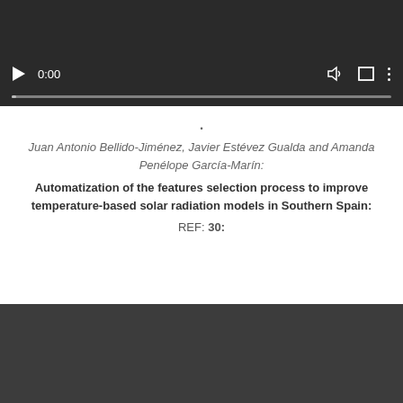[Figure (screenshot): Video player with dark background showing playback controls: play button, time display 0:00, volume icon, fullscreen icon, options icon, and a progress bar.]
·
Juan Antonio Bellido-Jiménez, Javier Estévez Gualda and Amanda Penélope García-Marín:
Automatization of the features selection process to improve temperature-based solar radiation models in Southern Spain:
REF: 30:
[Figure (screenshot): Second video player with dark gray background, no visible controls.]